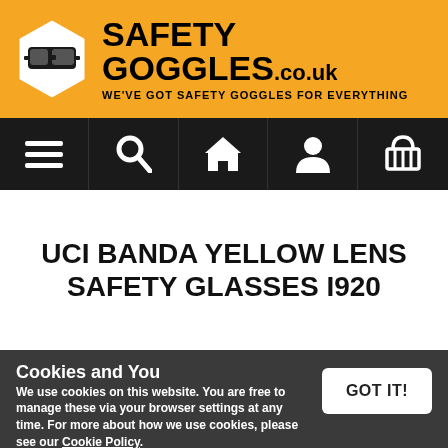SAFETY GOGGLES.co.uk — WE'VE GOT SAFETY GOGGLES FOR EVERYTHING
[Figure (logo): Safety Goggles logo with hexagonal goggle icon and bold text 'SAFETY GOGGLES.co.uk' with tagline 'WE'VE GOT SAFETY GOGGLES FOR EVERYTHING' on orange background]
[Figure (infographic): Navigation bar with five icons: hamburger menu, search magnifying glass, home/house, user/person, shopping basket, on black background]
UCI BANDA YELLOW LENS SAFETY GLASSES I920
Cookies and You
We use cookies on this website. You are free to manage these via your browser settings at any time. For more about how we use cookies, please see our Cookie Policy.
[Figure (photo): Partial photo of safety glasses (dark/amber lenses) visible at bottom of page]